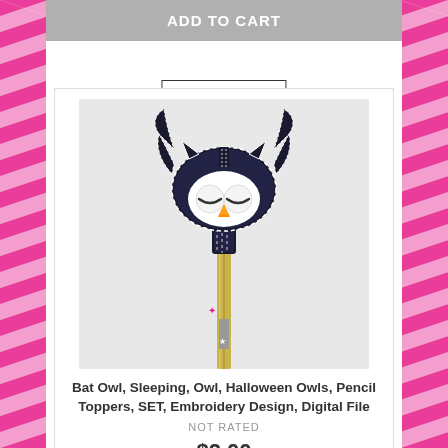ADD TO CART
Add to wishlist
[Figure (photo): A bat owl Halloween pencil topper embroidery design on a pencil. The topper is black with white stitching details, featuring a sleeping/closed-eyed owl face with white circular eyes, an orange triangular beak, bat wings, and ear-like protrusions on top.]
Bat Owl, Sleeping, Owl, Halloween Owls, Pencil Toppers, SET, Embroidery Design, Digital File
NOT RATED
$2.00